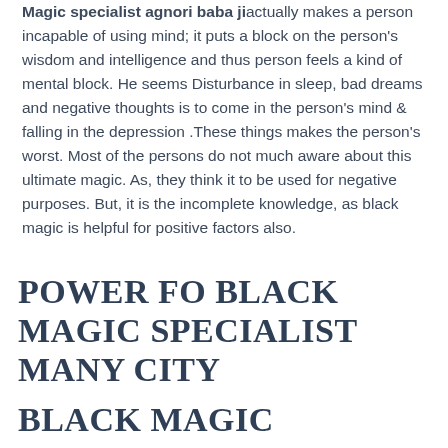Magic specialist agnori baba ji actually makes a person incapable of using mind; it puts a block on the person's wisdom and intelligence and thus person feels a kind of mental block. He seems Disturbance in sleep, bad dreams and negative thoughts is to come in the person's mind & falling in the depression .These things makes the person's worst. Most of the persons do not much aware about this ultimate magic. As, they think it to be used for negative purposes. But, it is the incomplete knowledge, as black magic is helpful for positive factors also.
POWER FO BLACK MAGIC SPECIALIST MANY CITY
BLACK MAGIC SOLUTION